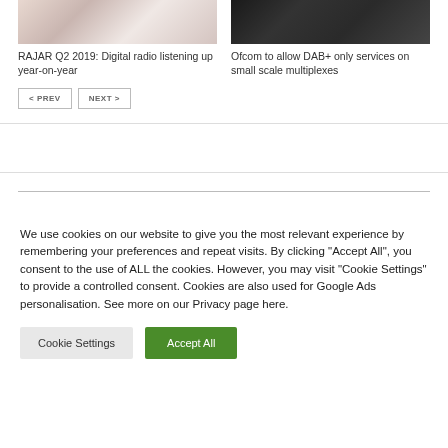[Figure (photo): Photo of person lying in bed with white bedding]
RAJAR Q2 2019: Digital radio listening up year-on-year
[Figure (photo): Photo of car dashboard/radio with hand reaching for controls]
Ofcom to allow DAB+ only services on small scale multiplexes
< PREV   NEXT >
We use cookies on our website to give you the most relevant experience by remembering your preferences and repeat visits. By clicking "Accept All", you consent to the use of ALL the cookies. However, you may visit "Cookie Settings" to provide a controlled consent. Cookies are also used for Google Ads personalisation. See more on our Privacy page here.
Cookie Settings   Accept All